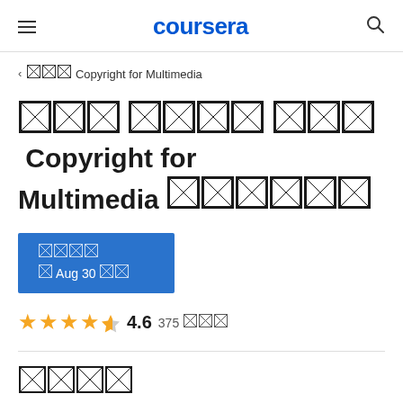coursera
□□□ Copyright for Multimedia
□□□ □□□□ □□□ Copyright for Multimedia □□□□□□
□□□□ □ Aug 30 □□
4.6  375 □□□
□□□□